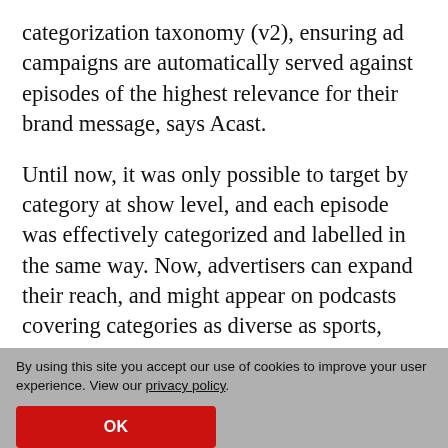categorization taxonomy (v2), ensuring ad campaigns are automatically served against episodes of the highest relevance for their brand message, says Acast.
Until now, it was only possible to target by category at show level, and each episode was effectively categorized and labelled in the same way. Now, advertisers can expand their reach, and might appear on podcasts covering categories as diverse as sports, beauty or politics – all because the subject matter of that particular episode is directly
By using this site you accept our use of cookies to improve your user experience. View our privacy policy.